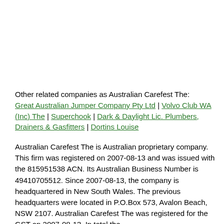Other related companies as Australian Carefest The: Great Australian Jumper Company Pty Ltd | Volvo Club WA (Inc) The | Superchook | Dark & Daylight Lic. Plumbers, Drainers & Gasfitters | Dortins Louise
Australian Carefest The is Australian proprietary company. This firm was registered on 2007-08-13 and was issued with the 815951538 ACN. Its Australian Business Number is 49410705512. Since 2007-08-13, the company is headquartered in New South Wales. The previous headquarters were located in P.O.Box 573, Avalon Beach, NSW 2107. Australian Carefest The was registered for the GST on 2007-08-13. In total the